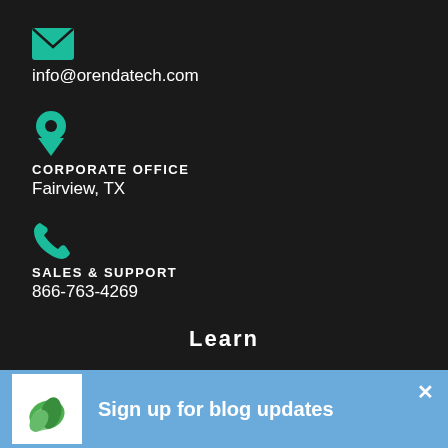[Figure (illustration): Teal envelope icon]
info@orendatech.com
[Figure (illustration): Teal map pin / location icon]
CORPORATE OFFICE
Fairview, TX
[Figure (illustration): Teal phone/handset icon]
SALES & SUPPORT
866-763-4269
Learn
[Figure (logo): Green leaf logo on white background]
Sign up for blog updates